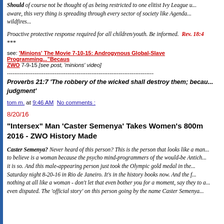Should of course not be thought of as being restricted to one elitist Ivy League u... aware, this very thing is spreading through every sector of society like Agenda... wildfires...
Proactive protective response required for all children/youth. Be informed. Rev. 18:4
***
see: 'Minions' The Movie 7-10-15: Androgynous Global-Slave Programming..."Becaus... ZWO 7-9-15 [see post, 'minions' video]
--------------------------------------------------------------------------------
Proverbs 21:7 'The robbery of the wicked shall destroy them; because they refuse judgment'
tom m. at 9:46 AM  No comments :
8/20/16
"Intersex" Man 'Caster Semenya' Takes Women's 800m 2016 - ZWO History Made
Caster Semenya? Never heard of this person? This is the person that looks like a man... to believe is a woman because the psycho mind-programmers of the would-be Antich... it is so. And this male-appearing person just took the Olympic gold medal in the... Saturday night 8-20-16 in Rio de Janeiro. It's in the history books now. And the f... nothing at all like a woman - don't let that even bother you for a moment, say they to a... even disputed. The 'official story' on this person going by the name Caster Semenya...